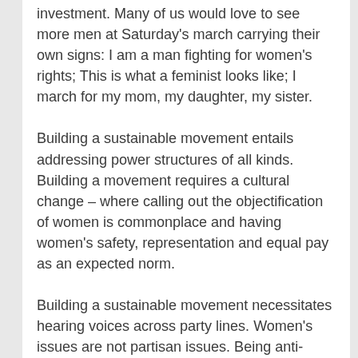investment. Many of us would love to see more men at Saturday's march carrying their own signs: I am a man fighting for women's rights; This is what a feminist looks like; I march for my mom, my daughter, my sister.
Building a sustainable movement entails addressing power structures of all kinds. Building a movement requires a cultural change – where calling out the objectification of women is commonplace and having women's safety, representation and equal pay as an expected norm.
Building a sustainable movement necessitates hearing voices across party lines. Women's issues are not partisan issues. Being anti-Trump is not a platform.